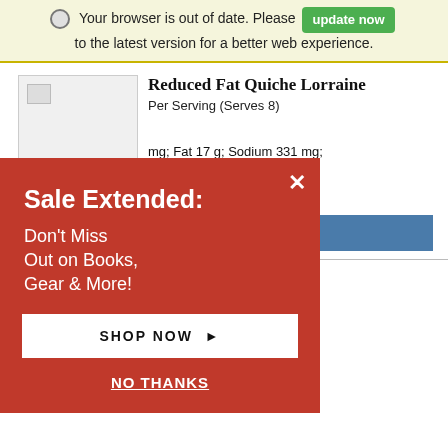Your browser is out of date. Please update now to the latest version for a better web experience.
[Figure (screenshot): Broken image placeholder for recipe photo]
Reduced Fat Quiche Lorraine
Per Serving (Serves 8)
mg; Fat 17 g; Sodium 331 mg; ns 0 g; Dietary Fiber 0 g; 4 g; Polyunsaturated 2 g;
PRINT
[Figure (photo): Photo of hummus dishes with pita chips]
Classic Hummus
Per Serving (Serves 8)
Sale Extended:
Don't Miss Out on Books, Gear & More!
SHOP NOW ▶
NO THANKS